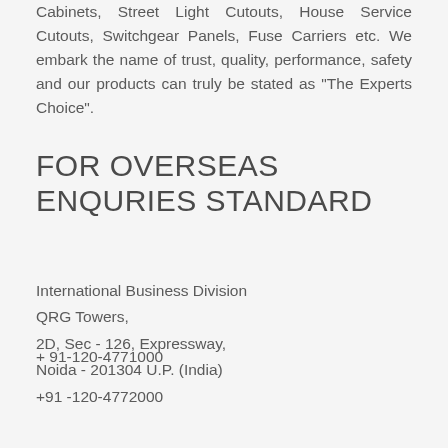Cabinets, Street Light Cutouts, House Service Cutouts, Switchgear Panels, Fuse Carriers etc. We embark the name of trust, quality, performance, safety and our products can truly be stated as "The Experts Choice".
FOR OVERSEAS ENQURIES STANDARD
International Business Division
QRG Towers,
2D, Sec - 126, Expressway,
Noida - 201304 U.P. (India)
+ 91-120-4771000
+91 -120-4772000